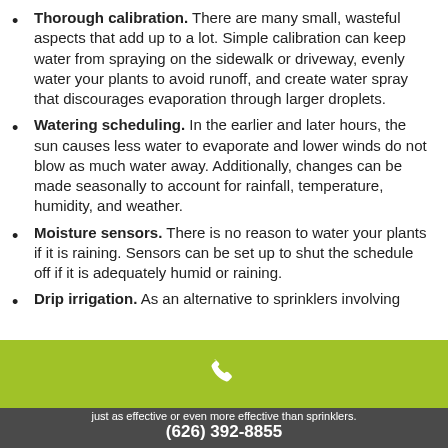Thorough calibration. There are many small, wasteful aspects that add up to a lot. Simple calibration can keep water from spraying on the sidewalk or driveway, evenly water your plants to avoid runoff, and create water spray that discourages evaporation through larger droplets.
Watering scheduling. In the earlier and later hours, the sun causes less water to evaporate and lower winds do not blow as much water away. Additionally, changes can be made seasonally to account for rainfall, temperature, humidity, and weather.
Moisture sensors. There is no reason to water your plants if it is raining. Sensors can be set up to shut the schedule off if it is adequately humid or raining.
Drip irrigation. As an alternative to sprinklers involving
[Figure (other): Green bar with white phone icon]
just as effective or even more effective than sprinklers.
(626) 392-8855